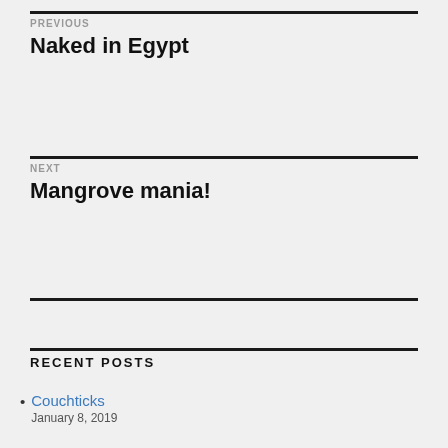PREVIOUS
Naked in Egypt
NEXT
Mangrove mania!
RECENT POSTS
Couchticks
January 8, 2019